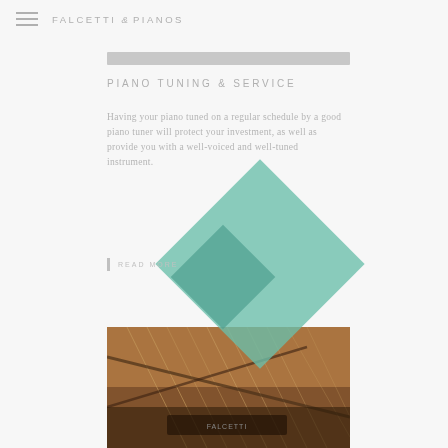FALCETTI & PIANOS
[Figure (photo): Grey horizontal image bar at top, cropped photo of piano]
PIANO TUNING & SERVICE
Having your piano tuned on a regular schedule by a good piano tuner will protect your investment, as well as provide you with a well-voiced and well-tuned instrument.
[Figure (illustration): Teal/mint green diamond decorative shape overlapping the text and button area]
READ MORE
[Figure (photo): Interior of a grand piano showing strings and hammers, warm brown tones]